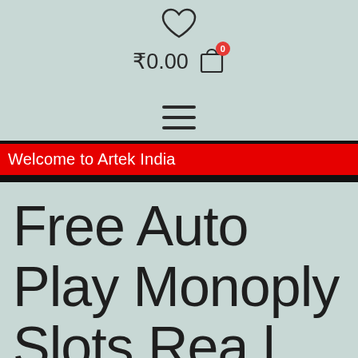[Figure (screenshot): Heart icon (wishlist) at top center of page]
₹0.00
[Figure (screenshot): Shopping cart icon with red badge showing 0]
[Figure (screenshot): Hamburger menu icon (three horizontal lines)]
Welcome to Artek India
Free Auto Play Monoply Slots Rea l